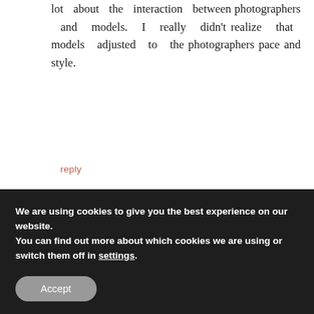lot about the interaction between photographers and models. I really didn't realize that models adjusted to the photographers pace and style.
reply
Leave a Reply
Your email address will not be published. Required fields are marked *
We are using cookies to give you the best experience on our website.
You can find out more about which cookies we are using or switch them off in settings.
Accept